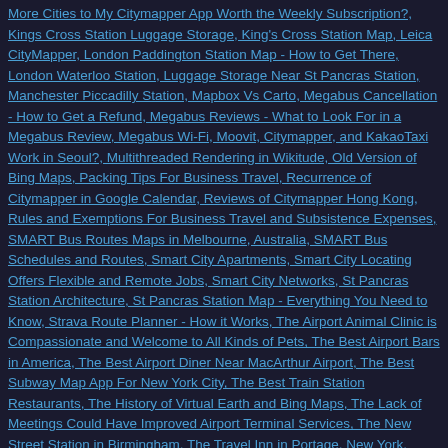More Cities to My Citymapper App Worth the Weekly Subscription?, Kings Cross Station Luggage Storage, King's Cross Station Map, Leica CityMapper, London Paddington Station Map - How to Get There, London Waterloo Station, Luggage Storage Near St Pancras Station, Manchester Piccadilly Station, Mapbox Vs Carto, Megabus Cancellation - How to Get a Refund, Megabus Reviews - What to Look For in a Megabus Review, Megabus Wi-Fi, Moovit, Citymapper, and KakaoTaxi Work in Seoul?, Multithreaded Rendering in Wikitude, Old Version of Bing Maps, Packing Tips For Business Travel, Recurrence of Citymapper in Google Calendar, Reviews of Citymapper Hong Kong, Rules and Exemptions For Business Travel and Subsistence Expenses, SMART Bus Routes Maps in Melbourne, Australia, SMART Bus Schedules and Routes, Smart City Apartments, Smart City Locating Offers Flexible and Remote Jobs, Smart City Networks, St Pancras Station Architecture, St Pancras Station Map - Everything You Need to Know, Strava Route Planner - How it Works, The Airport Animal Clinic is Compassionate and Welcome to All Kinds of Pets, The Best Airport Bars in America, The Best Airport Diner Near MacArthur Airport, The Best Subway Map App For New York City, The Best Train Station Restaurants, The History of Virtual Earth and Bing Maps, The Lack of Meetings Could Have Improved Airport Terminal Services, The New Street Station in Birmingham, The Travel Inn in Portage, New York, Things